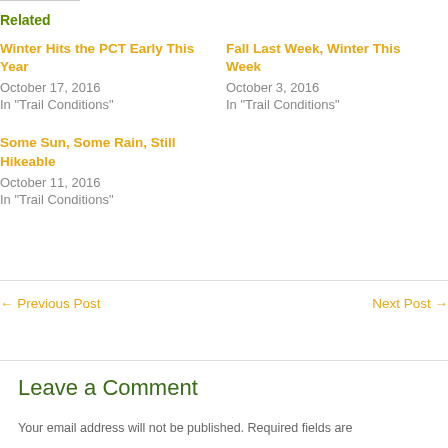Related
Winter Hits the PCT Early This Year
October 17, 2016
In "Trail Conditions"
Fall Last Week, Winter This Week
October 3, 2016
In "Trail Conditions"
Some Sun, Some Rain, Still Hikeable
October 11, 2016
In "Trail Conditions"
← Previous Post
Next Post →
Leave a Comment
Your email address will not be published. Required fields are